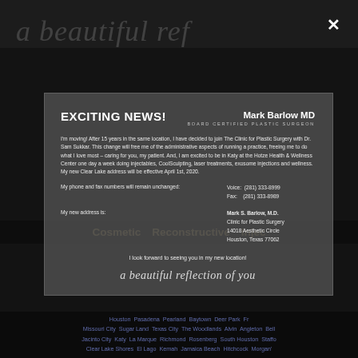a beautiful ref
[Figure (screenshot): Close (X) button in upper right corner of modal dialog]
EXCITING NEWS!
Mark Barlow MD
I'm moving!  After 15 years in the same location, I have decided to join The Clinic for Plastic Surgery with Dr. Sam Sukkar.  This change will free me of the administrative aspects of running a practice, freeing me to do what I love most – caring for you, my patient.  And, I am excited to be in Katy at the Hotze Health & Wellness Center one day a week doing injectables, CoolSculpting, laser treatments, exosome injections and wellness.  My new Clear Lake address will be effective April 1st, 2020.
My phone and fax numbers will remain unchanged:
Voice:  (281) 333-8999
Fax:     (281) 333-8989
My new address is:
Mark S. Barlow, M.D.
Clinic for Plastic Surgery
14018 Aesthetic Circle
Houston, Texas 77062
I look forward to seeing you in my new location!
a beautiful reflection of you
Cosmetic   Reconstructive   Injec
Houston  Pasadena  Pearland  Baytown  Deer Park  Fr  Missouri City  Sugar Land  Texas City  The Woodlands  Alvin  Angleton  Bell  Jacinto City  Katy  La Marque  Richmond  Rosenberg  South Houston  Staffo  Clear Lake Shores  El Lago  Kemah  Jamaica Beach  Hitchcock  Morgan'